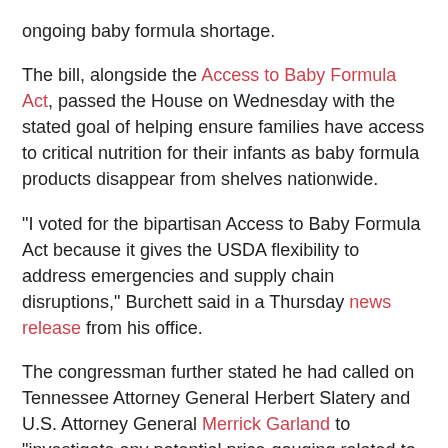ongoing baby formula shortage.
The bill, alongside the Access to Baby Formula Act, passed the House on Wednesday with the stated goal of helping ensure families have access to critical nutrition for their infants as baby formula products disappear from shelves nationwide.
"I voted for the bipartisan Access to Baby Formula Act because it gives the USDA flexibility to address emergencies and supply chain disruptions," Burchett said in a Thursday news release from his office.
The congressman further stated he had called on Tennessee Attorney General Herbert Slatery and U.S. Attorney General Merrick Garland to "investigate any potential price-gouging related to this crisis."
While he supported and voted for the Access to Baby Formula Act, which passed 414-9, Burchett said he could not